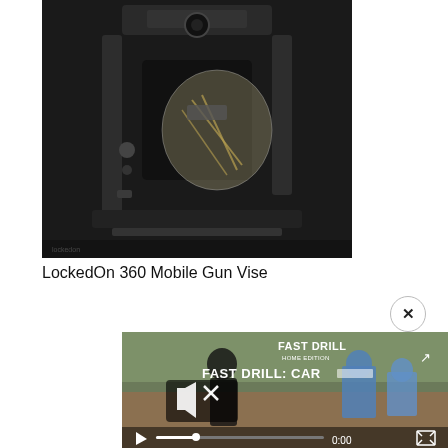[Figure (photo): Dark photo showing a LockedOn 360 Mobile Gun Vise product unboxed, with metal parts and accessories visible in a dark/black case or surface.]
LockedOn 360 Mobile Gun Vise
[Figure (screenshot): Video player screenshot showing 'FAST DRILL: CAR...' text overlay on outdoor shooting range footage. A muted speaker icon and play button are visible, with a progress bar at 0:00 and fullscreen button. A close (x) button appears in the upper right corner of the video overlay.]